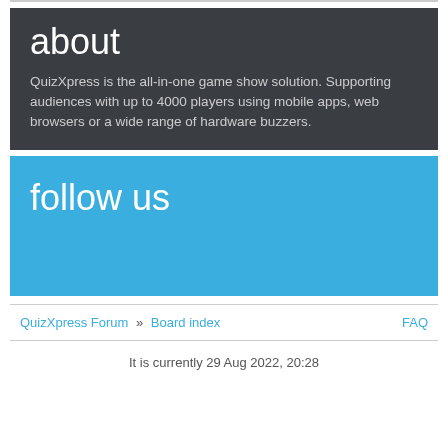about
QuizXpress is the all-in-one game show solution. Supporting audiences with up to 4000 players using mobile apps, web browsers or a wide range of hardware buzzers.
follow us
QuizXpress Forum » Board index    FAQ
It is currently 29 Aug 2022, 20:28